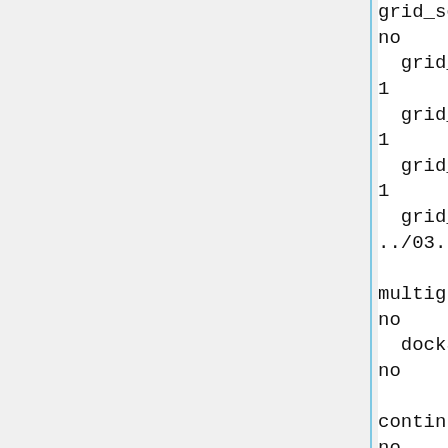grid_score_secondary
no
  grid_score_rep_rad_scale
1
  grid_score_vdw_scale
1
  grid_score_es_scale
1
  grid_score_grid_prefix
../03.box-grid/grid

multigrid_score_secondary
no
  dock3.5_score_secondary
no

continuous_score_secondary
no

footprint_similarity_score_seco
no

pharmacophore_score_secondary
no

chemistry_score_secondary